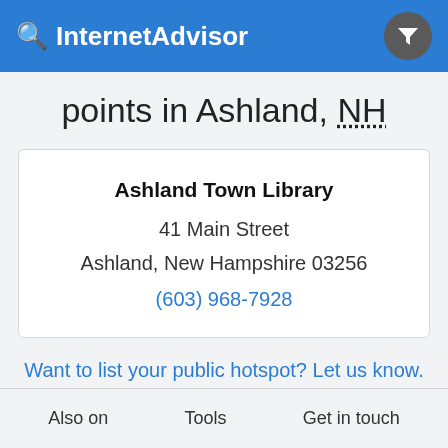InternetAdvisor
points in Ashland, NH
Ashland Town Library
41 Main Street
Ashland, New Hampshire 03256
(603) 968-7928
Want to list your public hotspot? Let us know.
Also on   Tools   Get in touch